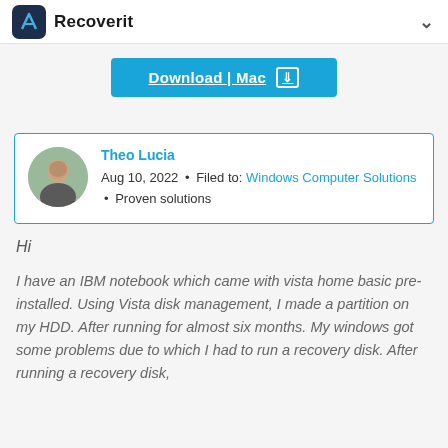Recoverit
[Figure (screenshot): Download | Mac button in cyan/blue]
Theo Lucia
Aug 10, 2022 • Filed to: Windows Computer Solutions • Proven solutions
Hi
I have an IBM notebook which came with vista home basic pre-installed. Using Vista disk management, I made a partition on my HDD. After running for almost six months. My windows got some problems due to which I had to run a recovery disk. After running a recovery disk,